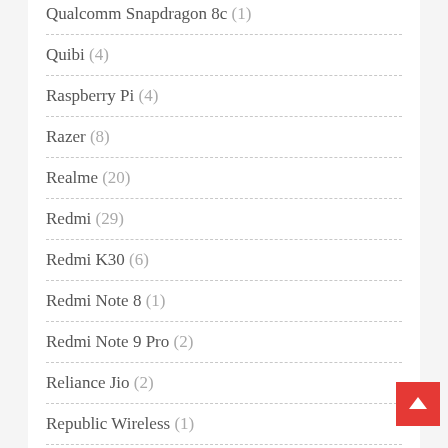Qualcomm Snapdragon 8c (1)
Quibi (4)
Raspberry Pi (4)
Razer (8)
Realme (20)
Redmi (29)
Redmi K30 (6)
Redmi Note 8 (1)
Redmi Note 9 Pro (2)
Reliance Jio (2)
Republic Wireless (1)
Reviews (114)
Ring (1)